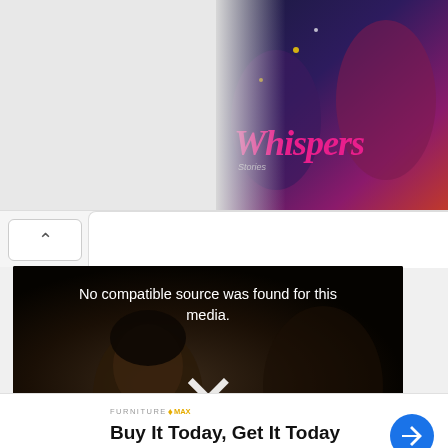[Figure (screenshot): Partial game banner showing 'Whispers' mobile game artwork with stylized characters and pink decorative title text on a dark gradient background]
[Figure (screenshot): UI collapse/accordion button with upward chevron (^) on white rounded rectangle background]
[Figure (screenshot): Video player showing error message 'No compatible source was found for this media.' with a large X icon overlaid on a dark cinematic background showing a woman and other people in a theater]
[Figure (screenshot): Close X button (white circle) for video overlay]
[Figure (screenshot): Advertisement banner for Furniture Max: 'Buy It Today, Get It Today' with blue navigation icon, Furniture Max logo, and ad controls at bottom left]